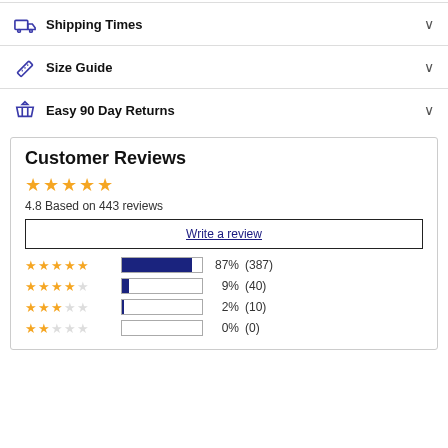Shipping Times
Size Guide
Easy 90 Day Returns
Customer Reviews
4.8 Based on 443 reviews
Write a review
[Figure (bar-chart): Customer Rating Distribution]